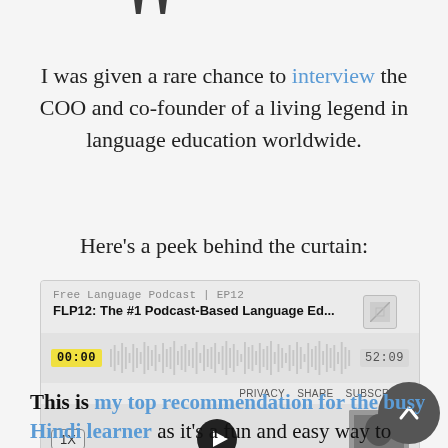[Figure (illustration): Large decorative quotation mark (closing double curly quote) in dark color at the top of the page]
I was given a rare chance to interview the COO and co-founder of a living legend in language education worldwide.
Here's a peek behind the curtain:
[Figure (screenshot): Embedded SoundCloud/podcast widget showing 'Free Language Podcast | EP12' with title 'FLP12: The #1 Podcast-Based Language Ed...' waveform display, timestamp 00:00 and 52:09, with PRIVACY SHARE SUBSCRIBE links, 1X speed button, play button, and avatar image]
This is my top recommendation for the busy Hindi learner as it's a fun and easy way to